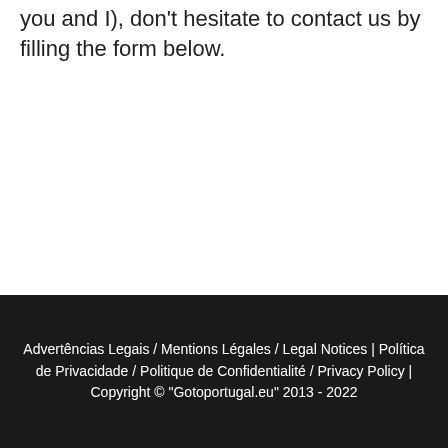for the three parties (the readers of the blog, you and I), don't hesitate to contact us by filling the form below.
Advertências Legais / Mentions Légales / Legal Notices | Política de Privacidade / Politique de Confidentialité / Privacy Policy | Copyright © "Gotoportugal.eu" 2013 - 2022